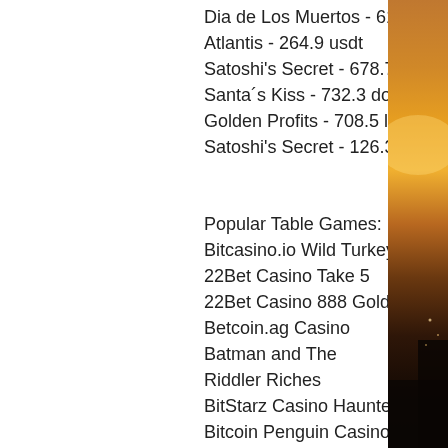Dia de Los Muertos - 617.7 dog
Atlantis - 264.9 usdt
Satoshi's Secret - 678.7 dog
Santa´s Kiss - 732.3 dog
Golden Profits - 708.5 ltc
Satoshi's Secret - 126.3 btc
Popular Table Games:
Bitcasino.io Wild Turkey
22Bet Casino Take 5
22Bet Casino 888 Gold
Betcoin.ag Casino Batman and The Riddler Riches
BitStarz Casino Haunted House
Bitcoin Penguin Casino Xmas Joker
CryptoGames Big Top
mBit Casino Pharaos Riches Red Hot Firepot
BetChain Casino Cricket Star
BitStarz Casino Cash Cave
[Figure (photo): Sunset or sunrise landscape photo with warm orange and golden tones, dark silhouette in lower right, forming the right column of the page.]